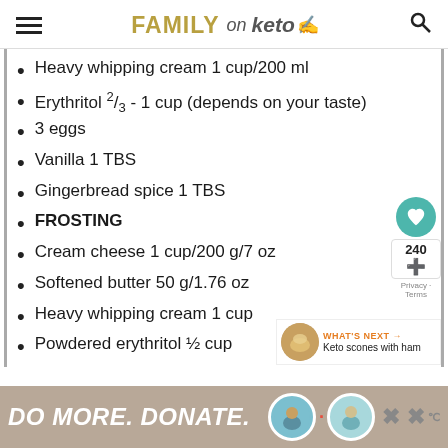FAMILY on keto [logo]
Heavy whipping cream 1 cup/200 ml
Erythritol ⅔ - 1 cup (depends on your taste)
3 eggs
Vanilla 1 TBS
Gingerbread spice 1 TBS
FROSTING
Cream cheese 1 cup/200 g/7 oz
Softened butter 50 g/1.76 oz
Heavy whipping cream 1 cup
Powdered erythritol ½ cup
Vanilla 1 tsp
DO MORE. DONATE.